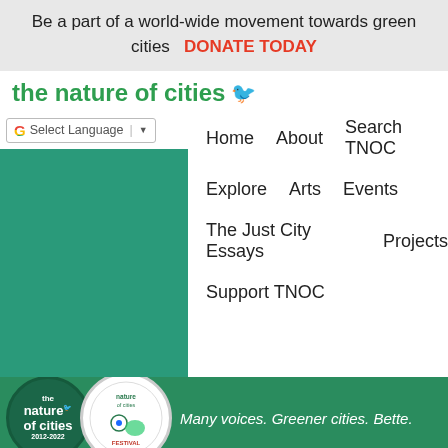Be a part of a world-wide movement towards green cities   DONATE TODAY
the nature of cities 🐦
[Figure (screenshot): Website navigation screenshot showing Google Translate selector, Home, About, Search TNOC, Explore, Arts, Events, The Just City Essays, Projects, Support TNOC navigation links on white background with teal left column]
[Figure (logo): The Nature of Cities 2012-2022 circular logo in dark green with white text and bird icon, and Nature of Cities Festival circular logo in white]
Many voices. Greener cities. Bette.
CJ Goulding